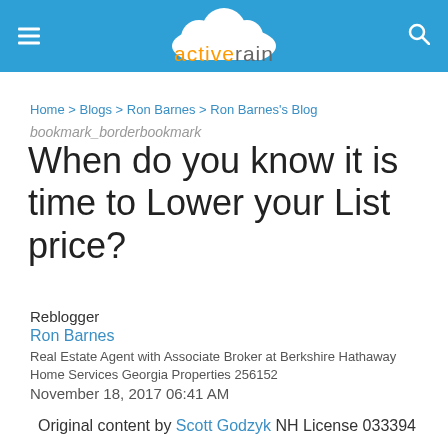activerain
Home > Blogs > Ron Barnes > Ron Barnes's Blog
bookmark_borderbookmark
When do you know it is time to Lower your List price?
Reblogger
Ron Barnes
Real Estate Agent with Associate Broker at Berkshire Hathaway Home Services Georgia Properties 256152
November 18, 2017 06:41 AM
Original content by Scott Godzyk NH License 033394